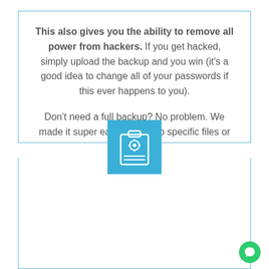This also gives you the ability to remove all power from hackers. If you get hacked, simply upload the backup and you win (it's a good idea to change all of your passwords if this ever happens to you).

Don't need a full backup? No problem. We made it super easy to backup specific files or databases!
[Figure (illustration): Blue square icon with a white clipboard/settings icon featuring a gear and lines, centered at the divider between two bordered sections]